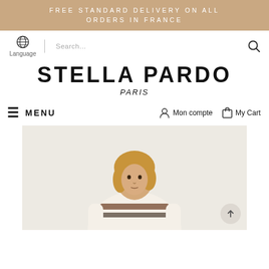FREE STANDARD DELIVERY ON ALL ORDERS IN FRANCE
[Figure (screenshot): Globe/language icon and search bar]
STELLA PARDO PARIS
MENU  Mon compte  My Cart
[Figure (photo): Female model wearing cream knit sweater with patterned trim, standing against light background]